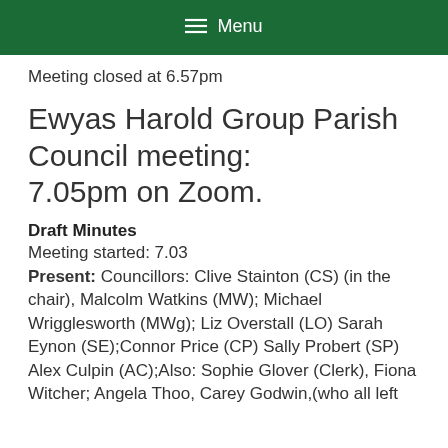≡ Menu
Meeting closed at 6.57pm
Ewyas Harold Group Parish Council meeting: 7.05pm on Zoom.
Draft Minutes
Meeting started: 7.03
Present: Councillors: Clive Stainton (CS) (in the chair), Malcolm Watkins (MW); Michael Wrigglesworth (MWg); Liz Overstall (LO) Sarah Eynon (SE);Connor Price (CP) Sally Probert (SP) Alex Culpin (AC);Also: Sophie Glover (Clerk), Fiona Witcher; Angela Thoo, Carey Godwin,(who all left